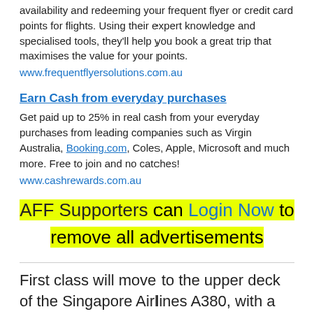availability and redeeming your frequent flyer or credit card points for flights. Using their expert knowledge and specialised tools, they'll help you book a great trip that maximises the value for your points.
www.frequentflyersolutions.com.au
Earn Cash from everyday purchases
Get paid up to 25% in real cash from your everyday purchases from leading companies such as Virgin Australia, Booking.com, Coles, Apple, Microsoft and much more. Free to join and no catches!
www.cashrewards.com.au
AFF Supporters can Login Now to remove all advertisements
First class will move to the upper deck of the Singapore Airlines A380, with a new Premium Economy cabin taking its place at the front of the lower deck. The small upper deck economy cabin will also be removed. This